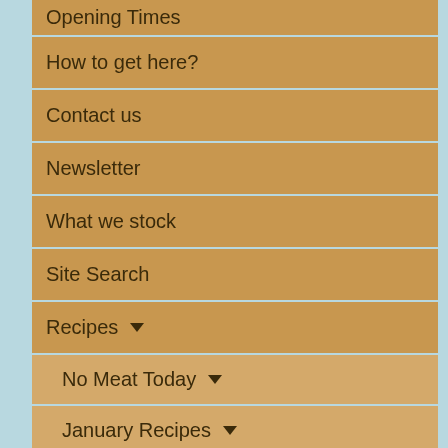Opening Times
How to get here?
Contact us
Newsletter
What we stock
Site Search
Recipes
No Meat Today
January Recipes
February Recipes
March Recipes
April Recipes
May Recipes